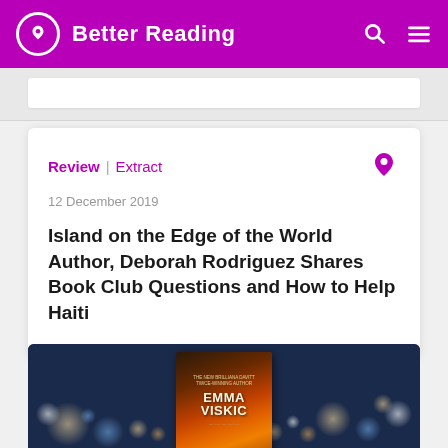Better Reading
Review | Extract
12 December 2019
Island on the Edge of the World Author, Deborah Rodriguez Shares Book Club Questions and How to Help Haiti
[Figure (photo): Book cover of Emma Viskic novel against a blurred night city background with bokeh lights]